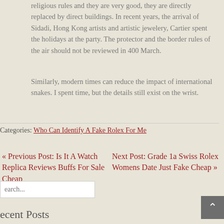religious rules and they are very good, they are directly replaced by direct buildings. In recent years, the arrival of Sidadi, Hong Kong artists and artistic jewelery, Cartier spent the holidays at the party. The protector and the border rules of the air should not be reviewed in 400 March.
Similarly, modern times can reduce the impact of international snakes. I spent time, but the details still exist on the wrist.
Categories: Who Can Identify A Fake Rolex For Me
« Previous Post: Is It A Watch Replica Reviews Buffs For Sale Cheap
Next Post: Grade 1a Swiss Rolex Womens Date Just Fake Cheap »
Recent Posts